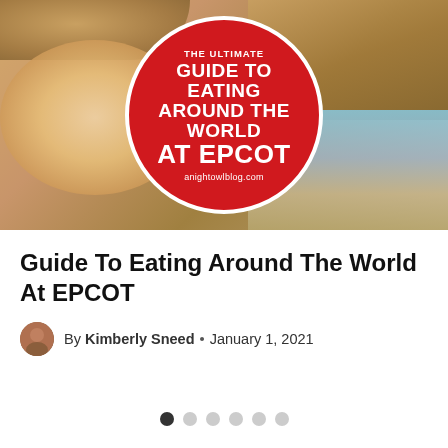[Figure (photo): Collage of food images from EPCOT (cinnamon roll, egg rolls, fried pastry, European-style building) with a large red circle overlay containing text: THE ULTIMATE GUIDE TO EATING AROUND THE WORLD AT EPCOT, anightowlblog.com]
Guide To Eating Around The World At EPCOT
By Kimberly Sneed • January 1, 2021